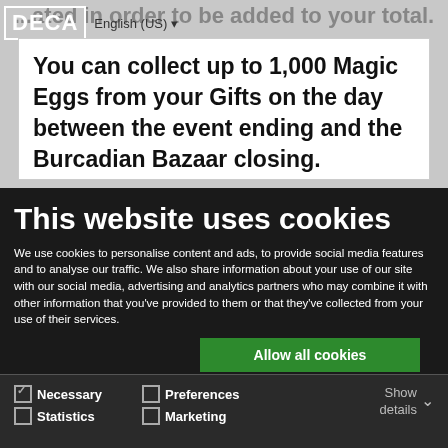[Figure (screenshot): DECA logo with English (US) language selector in top left, overlaid on a greyed-out webpage background]
...ated in order to be added to your total. You can collect up to 1,000 Magic Eggs from your Gifts on the day between the event ending and the Burcadian Bazaar closing.
This website uses cookies
We use cookies to personalise content and ads, to provide social media features and to analyse our traffic. We also share information about your use of our site with our social media, advertising and analytics partners who may combine it with other information that you've provided to them or that they've collected from your use of their services.
Allow all cookies
Allow selection
Use necessary cookies only
Necessary  Preferences  Statistics  Marketing  Show details